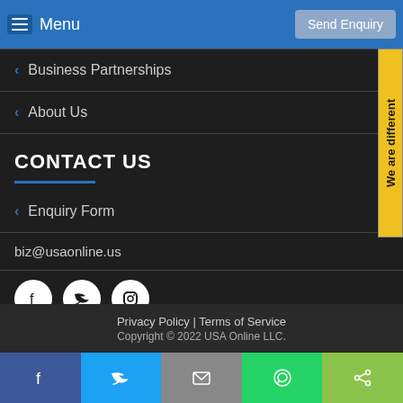Menu | Send Enquiry
Business Partnerships
About Us
CONTACT US
Enquiry Form
biz@usaonline.us
[Figure (illustration): Social media icons: Facebook, Twitter, Instagram circles]
[Figure (illustration): Side tab with text 'We are different' rotated vertically, yellow background]
Privacy Policy | Terms of Service
Copyright © 2022 USA Online LLC.
Facebook | Twitter | Email | WhatsApp | Share bottom navigation bar